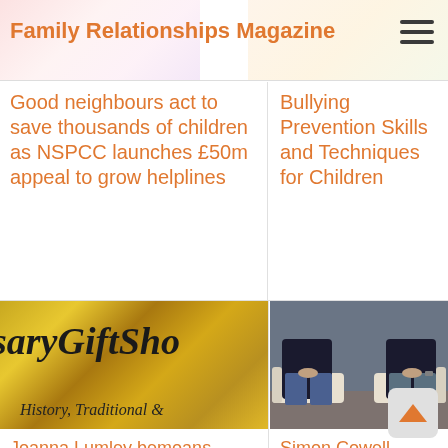Family Relationships Magazine
Good neighbours act to save thousands of children as NSPCC launches £50m appeal to grow helplines
Bullying Prevention Skills and Techniques for Children
[Figure (photo): Gift shop banner with golden/yellow background showing partial text 'saryGiftSho' and subtitle 'History, Traditional &']
[Figure (photo): Two people seated on sofas/chairs in conversation, photographed from waist down, indoor setting]
Joanna Lumley bemoans modern children's 'slack'
Simon Cowell backs children's hospice care appeal